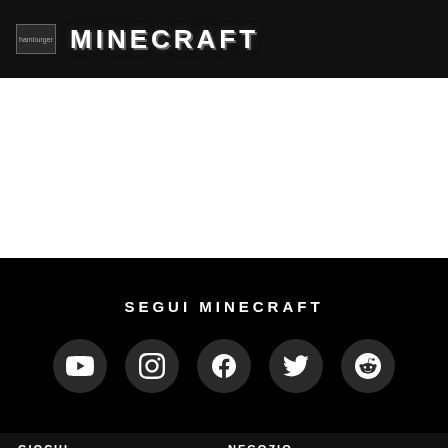hamburger | MINECRAFT
[Figure (screenshot): White content area (main page content region)]
SEGUI MINECRAFT
[Figure (infographic): Social media icons: YouTube, Instagram, Facebook, Twitter, Reddit]
GIOCHI
Minecraft
Minecraft Dungeons
Minecraft Legends
NEGOZIO
Marketplace
Negozio Minecraft